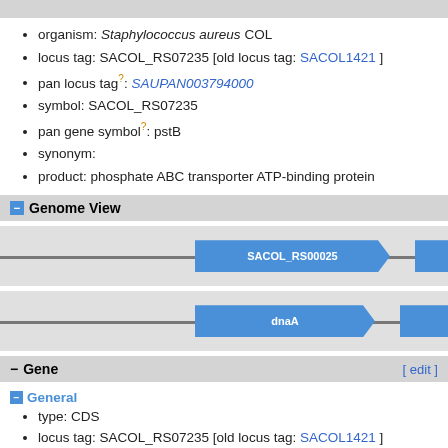organism: Staphylococcus aureus COL
locus tag: SACOL_RS07235 [old locus tag: SACOL1421 ]
pan locus tag?: SAUPAN003794000
symbol: SACOL_RS07235
pan gene symbol?: pstB
synonym:
product: phosphate ABC transporter ATP-binding protein
Genome View
[Figure (schematic): Genome view showing two gene arrows labeled SACOL_RS00025 and SACOL_RS00030 on a chromosome track, and below a second track with dnaA and dnaN gene arrows]
Gene
General
type: CDS
locus tag: SACOL_RS07235 [old locus tag: SACOL1421 ]